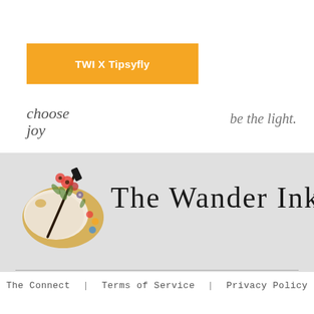TWI X Tipsyfly
choose joy
be the light.
[Figure (logo): Watercolor artist's palette with floral and paintbrush illustration — The Wander Ink logo icon]
The Wander Ink
The Connect  |  Terms of Service  |  Privacy Policy